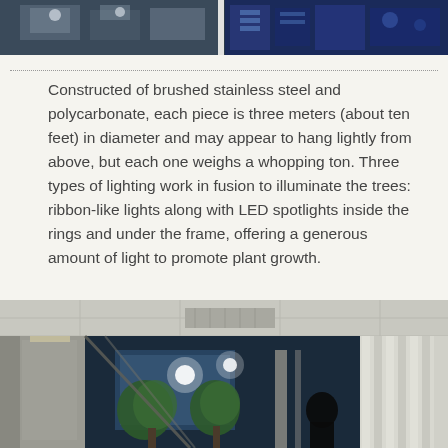[Figure (photo): Top strip photo showing industrial or factory interior with overhead lighting and equipment]
Constructed of brushed stainless steel and polycarbonate, each piece is three meters (about ten feet) in diameter and may appear to hang lightly from above, but each one weighs a whopping ton. Three types of lighting work in fusion to illuminate the trees: ribbon-like lights along with LED spotlights inside the rings and under the frame, offering a generous amount of light to promote plant growth.
[Figure (photo): Interior room with glass walls/windows looking out onto trees at night with LED lighting visible; silhouette of a person standing at the window]